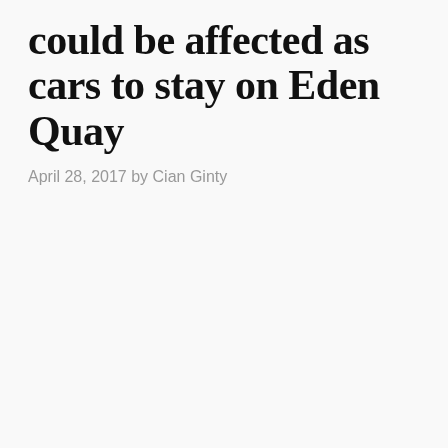could be affected as cars to stay on Eden Quay
April 28, 2017 by Cian Ginty